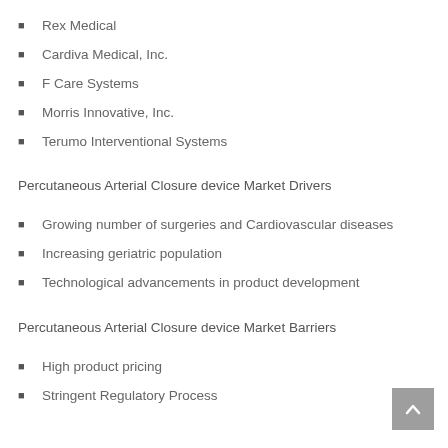Rex Medical
Cardiva Medical, Inc.
F Care Systems
Morris Innovative, Inc.
Terumo Interventional Systems
Percutaneous Arterial Closure device Market Drivers
Growing number of surgeries and Cardiovascular diseases
Increasing geriatric population
Technological advancements in product development
Percutaneous Arterial Closure device Market Barriers
High product pricing
Stringent Regulatory Process